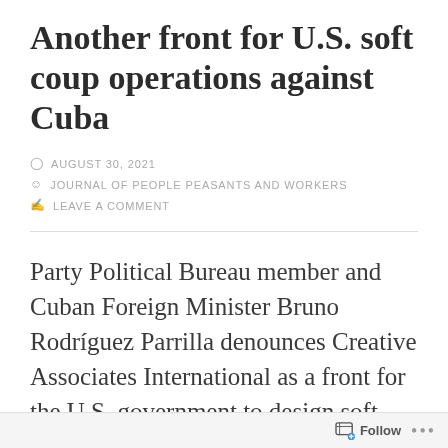Another front for U.S. soft coup operations against Cuba
AUGUST 30, 2021
JOURNAL OF PEOPLE PEASANTS AND WORKERS
LEAVE A COMMENT
Party Political Bureau member and Cuban Foreign Minister Bruno Rodríguez Parrilla denounces Creative Associates International as a front for the U.S. government to design soft coups in our country and others
Follow